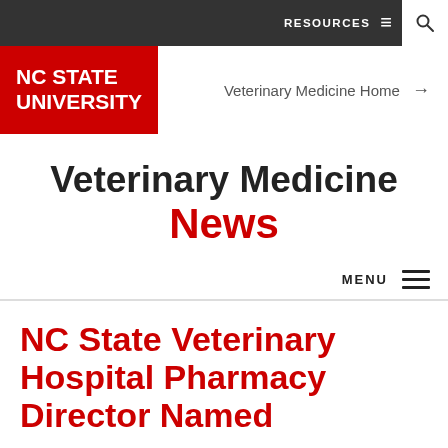[Figure (logo): NC State University red logo block in top left corner]
RESOURCES  ☰  🔍
Veterinary Medicine Home →
Veterinary Medicine News
MENU  ≡
NC State Veterinary Hospital Pharmacy Director Named